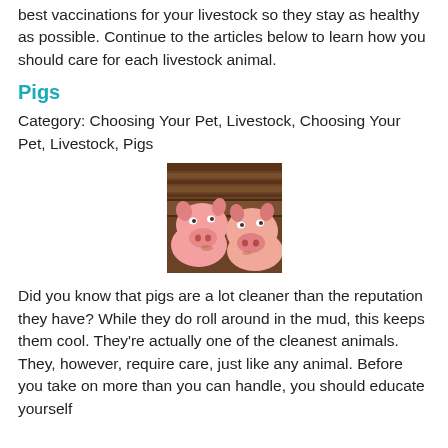best vaccinations for your livestock so they stay as healthy as possible. Continue to the articles below to learn how you should care for each livestock animal.
Pigs
Category: Choosing Your Pet, Livestock, Choosing Your Pet, Livestock, Pigs
[Figure (photo): Two pink piglets looking through wooden planks, close-up view from above]
Did you know that pigs are a lot cleaner than the reputation they have? While they do roll around in the mud, this keeps them cool. They're actually one of the cleanest animals. They, however, require care, just like any animal. Before you take on more than you can handle, you should educate yourself